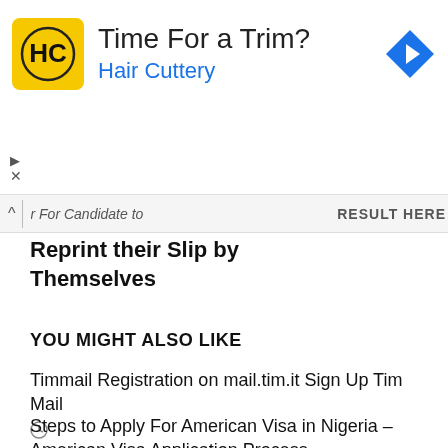[Figure (other): Advertisement banner for Hair Cuttery with yellow logo, text 'Time For a Trim? Hair Cuttery', and a blue navigation arrow icon on the right.]
r For Candidate to   RESULT HERE
Reprint their Slip by Themselves
YOU MIGHT ALSO LIKE
Timmail Registration on mail.tim.it Sign Up Tim Mail
Steps to Apply For American Visa in Nigeria – American Visa Application Process